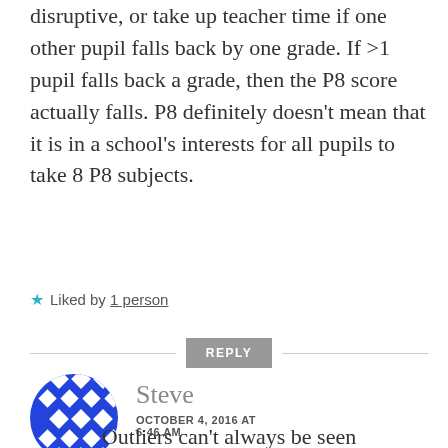disruptive, or take up teacher time if one other pupil falls back by one grade. If >1 pupil falls back a grade, then the P8 score actually falls. P8 definitely doesn't mean that it is in a school's interests for all pupils to take 8 P8 subjects.
Liked by 1 person
REPLY
[Figure (illustration): Blue circular avatar with white diamond/rhombus pattern grid design, representing user Steve]
Steve
OCTOBER 4, 2016 AT 6:46 AM
Outliers can't always be seen